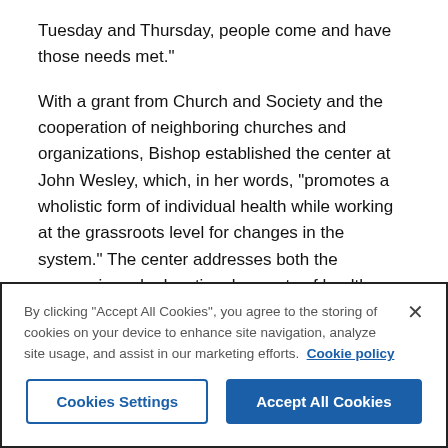Tuesday and Thursday, people come and have those needs met."
With a grant from Church and Society and the cooperation of neighboring churches and organizations, Bishop established the center at John Wesley, which, in her words, "promotes a wholistic form of individual health while working at the grassroots level for changes in the system." The center addresses both the economic and educational aspects of health care. "A person's health is directly related to their education and employment," she says.
From weight-loss support groups and exercise classes to nutrition workshops and kitchen classes that teach how to make healthy snacks, the agenda is driven by the needs of its participants...
By clicking "Accept All Cookies", you agree to the storing of cookies on your device to enhance site navigation, analyze site usage, and assist in our marketing efforts.  Cookie policy